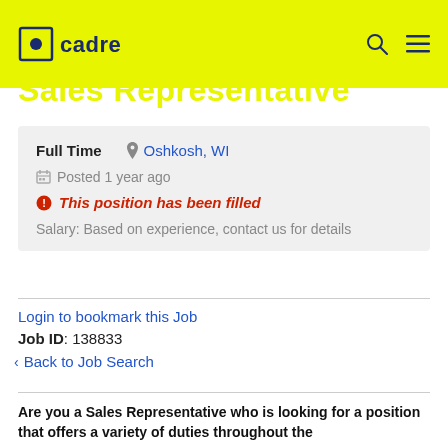cadre
Sales Representative
Full Time   Oshkosh, WI
Posted 1 year ago
This position has been filled
Salary: Based on experience, contact us for details
Login to bookmark this Job
Job ID: 138833
< Back to Job Search
Are you a Sales Representative who is looking for a position that offers a variety of duties throughout the